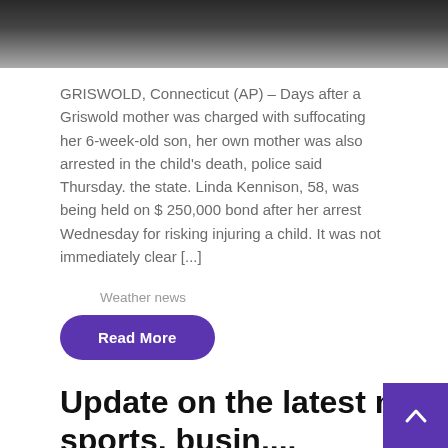[Figure (photo): Dark photo partially visible at top of page, appears to show a person outdoors]
GRISWOLD, Connecticut (AP) – Days after a Griswold mother was charged with suffocating her 6-week-old son, her own mother was also arrested in the child's death, police said Thursday. the state. Linda Kennison, 58, was being held on $ 250,000 bond after her arrest Wednesday for risking injuring a child. It was not immediately clear [...]
Weather news
Read More
Update on the latest ne
wssports, busin....